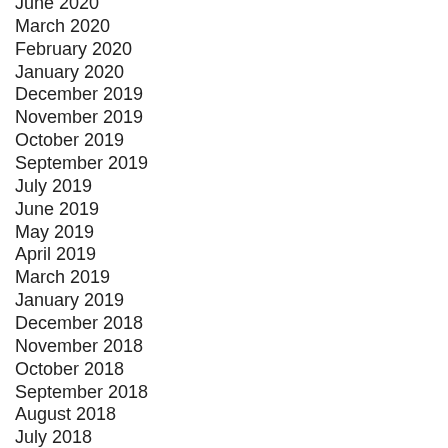June 2020
March 2020
February 2020
January 2020
December 2019
November 2019
October 2019
September 2019
July 2019
June 2019
May 2019
April 2019
March 2019
January 2019
December 2018
November 2018
October 2018
September 2018
August 2018
July 2018
June 2018
May 2018
April 2018